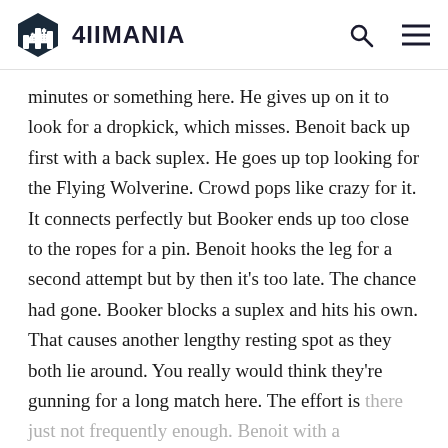4IIMANIA
minutes or something here. He gives up on it to look for a dropkick, which misses. Benoit back up first with a back suplex. He goes up top looking for the Flying Wolverine. Crowd pops like crazy for it. It connects perfectly but Booker ends up too close to the ropes for a pin. Benoit hooks the leg for a second attempt but by then it's too late. The chance had gone. Booker blocks a suplex and hits his own. That causes another lengthy resting spot as they both lie around. You really would think they're gunning for a long match here. The effort is there just not frequently enough. Benoit with a suplex for 2. Tony even announces the 10